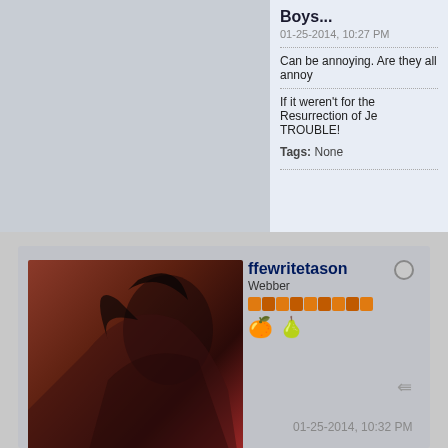Boys...
01-25-2014, 10:27 PM
Can be annoying. Are they all annoy
If it weren't for the Resurrection of Je TROUBLE!
Tags: None
ffewritetason
Webber
Join Date: Jan 2014   Posts: 1277
Location: Stars/Night/Big/Bright/CLAP
Faith: Christian
Gender: Female
Amens Received: 11
Amens Given: 0
01-25-2014, 10:32 PM